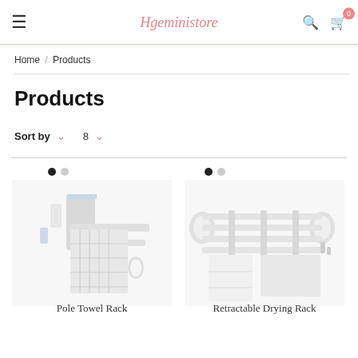≡ Hgeministore 🔍 🛒 0
Home / Products
Products
Sort by  ∨   8  ∨
[Figure (photo): Pole Towel Rack with checkered towel hanging, wall-mounted bathroom rack]
[Figure (photo): Retractable Drying Rack mounted on wall with white towels]
Pole Towel Rack
Retractable Drying Rack